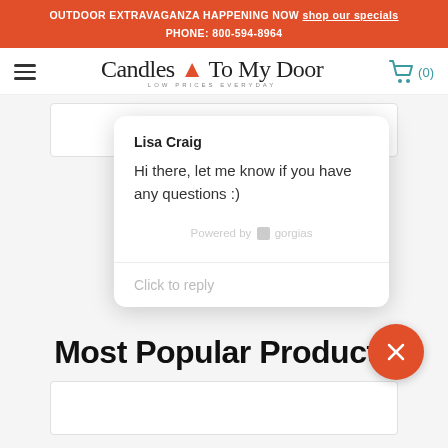OUTDOOR EXTRAVAGANZA HAPPENING NOW shop our specials
PHONE: 800-594-8964
[Figure (logo): Candles To My Door logo with flame icon and tagline LOW PRICES EVERYDAY]
[Figure (screenshot): Chat popup from Lisa Craig saying: Hi there, let me know if you have any questions :) Powered by gorgias. Click to reply.]
Most Popular Products
[Figure (photo): Product card placeholder at bottom of page]